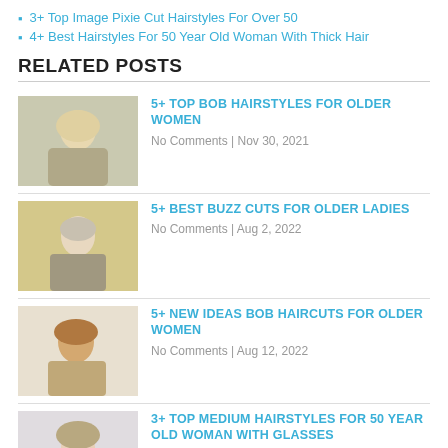3+ Top Image Pixie Cut Hairstyles For Over 50
4+ Best Hairstyles For 50 Year Old Woman With Thick Hair
RELATED POSTS
[Figure (photo): Woman with short bob hairstyle, side/back view, light blonde hair]
5+ TOP BOB HAIRSTYLES FOR OLDER WOMEN
No Comments | Nov 30, 2021
[Figure (photo): Older woman with buzz cut hairstyle, side view, very short silver hair]
5+ BEST BUZZ CUTS FOR OLDER LADIES
No Comments | Aug 2, 2022
[Figure (photo): Woman with short angled bob haircut, brown/blonde highlights, side view]
5+ NEW IDEAS BOB HAIRCUTS FOR OLDER WOMEN
No Comments | Aug 12, 2022
[Figure (photo): Woman over 50 with medium length wavy hair and glasses, smiling]
3+ TOP MEDIUM HAIRSTYLES FOR 50 YEAR OLD WOMAN WITH GLASSES
No Comments | Jan 18, 2022